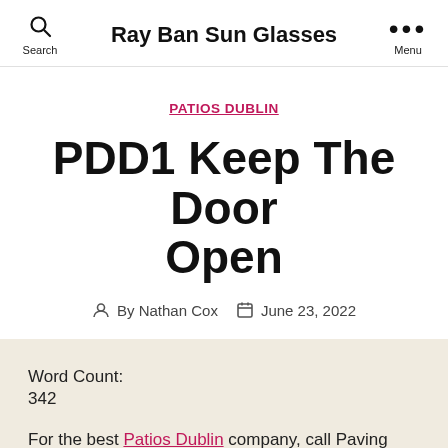Ray Ban Sun Glasses
PATIOS DUBLIN
PDD1 Keep The Door Open
By Nathan Cox  June 23, 2022
Word Count:
342
For the best Patios Dublin company, call Paving